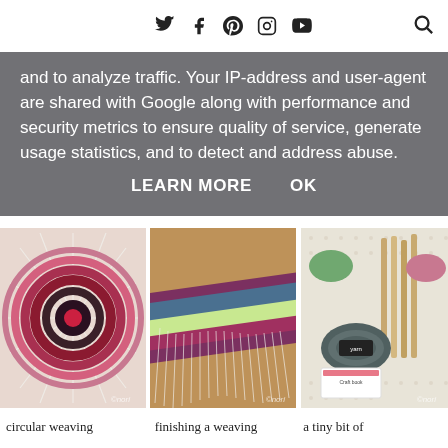social media icons: Twitter, Facebook, Pinterest, Instagram, YouTube, Search
and to analyze traffic. Your IP-address and user-agent are shared with Google along with performance and security metrics to ensure quality of service, generate usage statistics, and to detect and address abuse.
LEARN MORE   OK
[Figure (photo): Circular weaving on a loom viewed from above, showing concentric rings in red, dark brown, and pink yarn with white warp threads radiating outward]
[Figure (photo): Close-up of a weaving in progress showing colorful weft threads in pink, purple, teal, and yellow with white fringe hanging down]
[Figure (photo): Flat lay of weaving supplies including yarn skeins in green, pink, and grey, wooden sticks, and a craft book on a dotted background]
circular weaving
finishing a weaving
a tiny bit of